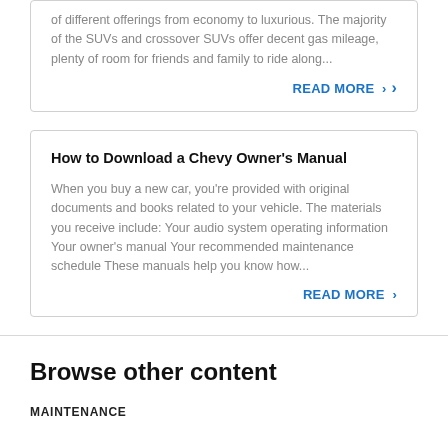of different offerings from economy to luxurious. The majority of the SUVs and crossover SUVs offer decent gas mileage, plenty of room for friends and family to ride along...
READ MORE >
How to Download a Chevy Owner's Manual
When you buy a new car, you're provided with original documents and books related to your vehicle. The materials you receive include: Your audio system operating information Your owner's manual Your recommended maintenance schedule These manuals help you know how...
READ MORE >
Browse other content
MAINTENANCE